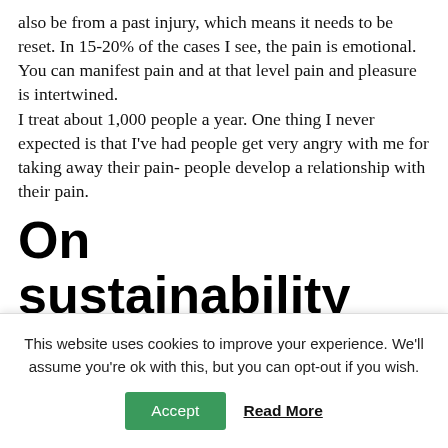also be from a past injury, which means it needs to be reset. In 15-20% of the cases I see, the pain is emotional. You can manifest pain and at that level pain and pleasure is intertwined.
I treat about 1,000 people a year. One thing I never expected is that I've had people get very angry with me for taking away their pain- people develop a relationship with their pain.
On sustainability and financial incentives
Revi: Sustainability is essentially is redoing the entire...
This website uses cookies to improve your experience. We'll assume you're ok with this, but you can opt-out if you wish.